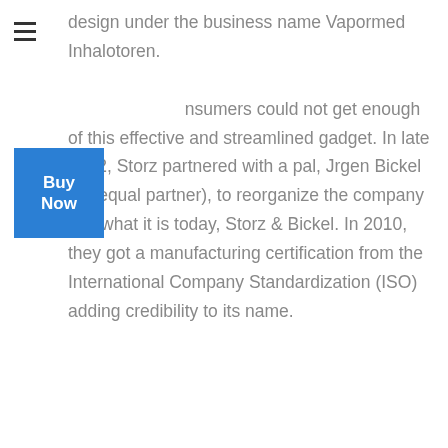design under the business name Vapormed Inhalotoren. consumers could not get enough of this effective and streamlined gadget. In late 2002, Storz partnered with a pal, Jrgen Bickel (an equal partner), to reorganize the company into what it is today, Storz & Bickel. In 2010, they got a manufacturing certification from the International Company Standardization (ISO) adding credibility to its name.